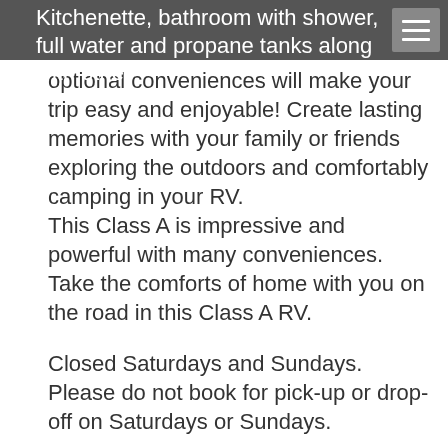Kitchenette, bathroom with shower, full water and propane tanks along with other optional conveniences will make your trip easy and enjoyable! Create lasting memories with your family or friends exploring the outdoors and comfortably camping in your RV. This Class A is impressive and powerful with many conveniences. Take the comforts of home with you on the road in this Class A RV.
Closed Saturdays and Sundays. Please do not book for pick-up or drop-off on Saturdays or Sundays.
Pre-purchase a mileage package based on your travel plans for the low cost of $29 per